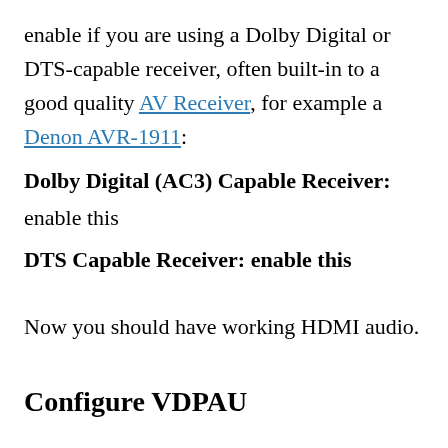enable if you are using a Dolby Digital or DTS-capable receiver, often built-in to a good quality AV Receiver, for example a Denon AVR-1911:
Dolby Digital (AC3) Capable Receiver:
enable this
DTS Capable Receiver:
enable this
Now you should have working HDMI audio.
Configure VDPAU